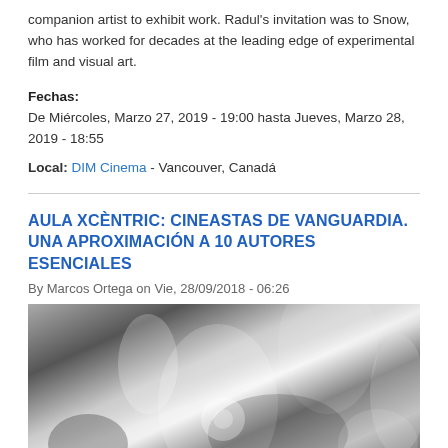companion artist to exhibit work. Radul's invitation was to Snow, who has worked for decades at the leading edge of experimental film and visual art.
Fechas:
De Miércoles, Marzo 27, 2019 - 19:00 hasta Jueves, Marzo 28, 2019 - 18:55
Local: DIM Cinema - Vancouver, Canadá
AULA XCÈNTRIC: CINEASTAS DE VANGUARDIA. UNA APROXIMACIÓN A 10 AUTORES ESENCIALES
By Marcos Ortega on Vie, 28/09/2018 - 06:26
[Figure (photo): Black and white photograph showing an abstract or artistic scene with blurred figures and light effects.]